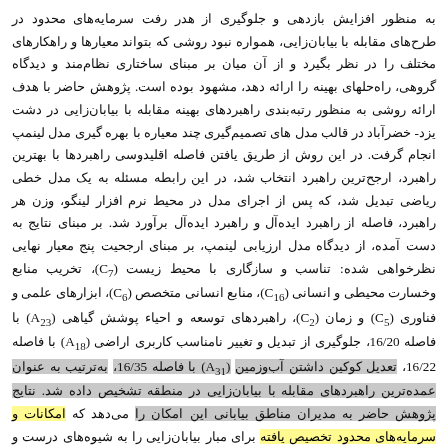به منظور افزایش بازدهی و جلوگیری از هدر رفت سرمایه‌های محدود در طرح‌های مقابله با بیابان‌زایی، همواره نبود روشی که بتواند معیارها و راهکارهای مختلف را در نظر بگیرد و از آن میان بر مبنای ساختاری نظام‌مند و دیدگاه گروهی، راه‌حلهای بهینه را ارائه دهد، مشهود بوده است. پژوهش حاضر با هدف ارائه روشی به منظور رتبه‌بندی راهبردهای بهینه مقابله با بیابان‌زایی در دشت یزد- خضرآباد در قالب مدل های تصمیم‌گیری چند معیاره با بهره گیری مدل لینمپ انجام گرفت. در این روش از طریق یافتن فاصله اقلیدوسی راهبردها با بهترین راهبرد، ارجح‌ترین راهبرد انتخاب شد، در این رابطه مسئله به یک مدل خطی ریاضی تبدیل شد، که پس از اجرای مدل در محیط نرم افزار لینگو، وزن هر راهبرد، فاصله از راهبرد ایده‌آل و راهبرد ایده‌آل برآورد شد. بر مبنای نتایج به دست آمده، از دیدگاه مدل ارزیابی لینمپ، بر مبنای ارجحیت پنج معیار نهایی نظرخواهی شده: تناسب و سازگاری با محیط زیست (C7)، تخریب منابع وخسارت محیطی و انسانی (C16)، منابع انسانی متخصص (C6)، ابزارهای علمی و فناوری (C5) و زمان (C2)، راهبردهای توسعه و احیاء پوشش گیاهی (A23) با فاصله 16/20، جلوگیری از تبدیل و تغییر نامناسب کاربری اراضی (A18) با فاصله 16/22، تعدیل کوکین داشتن آب‌وزمین (A31) با فاصله 16/35، به‌ترتیب به عنوان عمده‌ترین راهبردهای مقابله با بیابان‌زایی در منطقه تشخیص داده شد. نتایج پژوهش حاضر به مدیران مناطق بیابانی این امکان را می‌دهد که امکانات و سرمایه‌های محدود تخصیص یافته برای مبار بیابان‌زایی را به شیوه‌های درست و کارآمد به کارگیرند. بنابراین، نتایج رتبه‌بندی مذکور می تواند باعث افزایش میزان موفقیت اجرای طرح‌های بیابان‌زدایی واجرای آنها در منطقه مورد مطالعه شود.